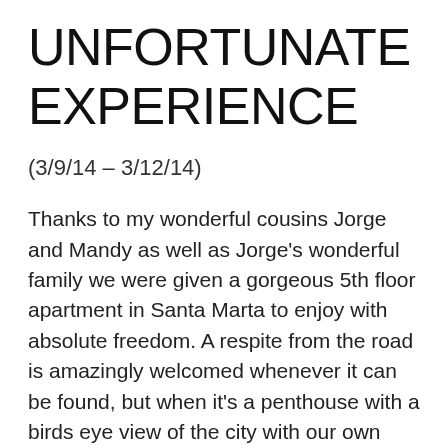UNFORTUNATE EXPERIENCE
(3/9/14 – 3/12/14)
Thanks to my wonderful cousins Jorge and Mandy as well as Jorge's wonderful family we were given a gorgeous 5th floor apartment in Santa Marta to enjoy with absolute freedom. A respite from the road is amazingly welcomed whenever it can be found, but when it's a penthouse with a birds eye view of the city with our own comfortable rooms, an amazing